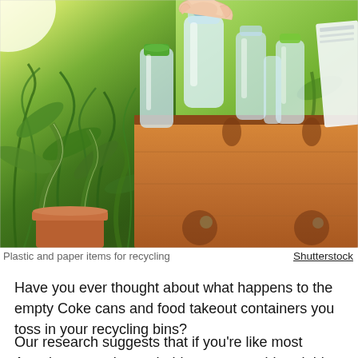[Figure (photo): A hand placing a clear plastic bottle into a cardboard box filled with plastic bottles and paper items for recycling, with green plants in the background and sunlight]
Plastic and paper items for recycling
Shutterstock
Have you ever thought about what happens to the empty Coke cans and food takeout containers you toss in your recycling bins?
Our research suggests that if you're like most Americans, you've probably never considered this question. This was